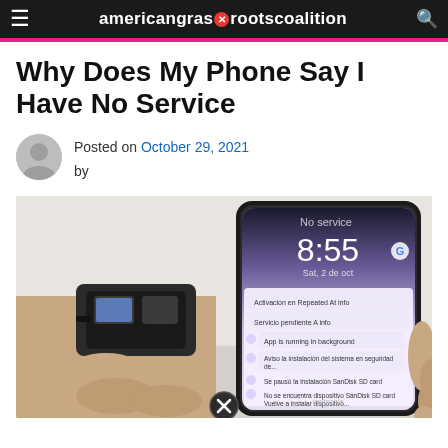americangrasscootscoalition
Why Does My Phone Say I Have No Service
Posted on October 29, 2021 by
[Figure (photo): A hand holding a SIM card tray next to a Motorola smartphone displaying a lock screen showing the time 8:55, with a notifications panel showing various Spanish-language system messages. The phone background shows a light purple/lavender color. A close/dismiss button appears at the bottom center of the image.]